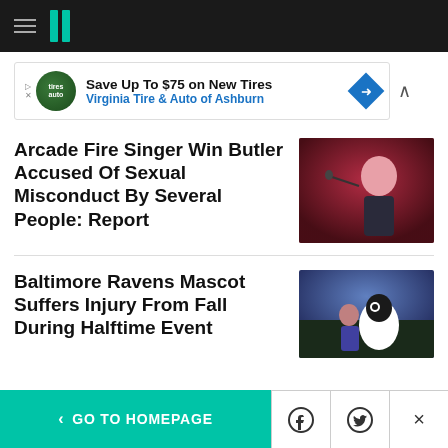HuffPost navigation header with logo
[Figure (other): Advertisement banner: Save Up To $75 on New Tires - Virginia Tire & Auto of Ashburn]
Arcade Fire Singer Win Butler Accused Of Sexual Misconduct By Several People: Report
[Figure (photo): Photo of Arcade Fire singer Win Butler performing on stage under red lighting]
Baltimore Ravens Mascot Suffers Injury From Fall During Halftime Event
[Figure (photo): Photo of Baltimore Ravens mascot in a stadium setting]
< GO TO HOMEPAGE